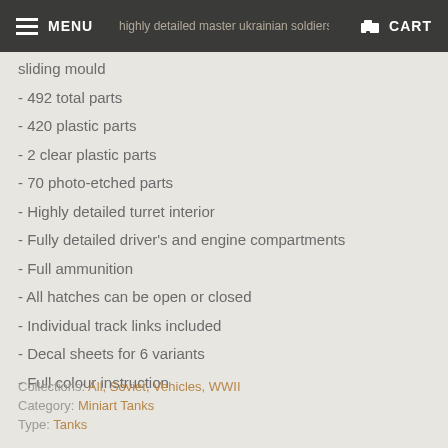MENU  [page title partially visible]  CART
sliding mould
- 492 total parts
- 420 plastic parts
- 2 clear plastic parts
- 70 photo-etched parts
- Highly detailed turret interior
- Fully detailed driver's and engine compartments
- Full ammunition
- All hatches can be open or closed
- Individual track links included
- Decal sheets for 6 variants
- Full colour instruction
Collections: All, Soviet, Vehicles, WWII
Category: Miniart Tanks
Type: Tanks